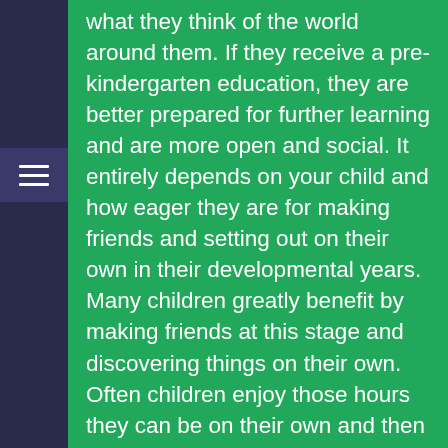what they think of the world around them. If they receive a pre-kindergarten education, they are better prepared for further learning and are more open and social. It entirely depends on your child and how eager they are for making friends and setting out on their own in their developmental years. Many children greatly benefit by making friends at this stage and discovering things on their own. Often children enjoy those hours they can be on their own and then look forward to the time they will be spending with their families.
Children who receive an early education discover talents they did not know they had and then look forward to more education as